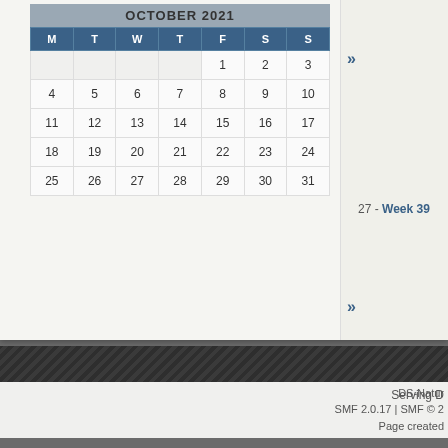OCTOBER 2021
| M | T | W | T | F | S | S |
| --- | --- | --- | --- | --- | --- | --- |
|  |  |  |  | 1 | 2 | 3 |
| 4 | 5 | 6 | 7 | 8 | 9 | 10 |
| 11 | 12 | 13 | 14 | 15 | 16 | 17 |
| 18 | 19 | 20 | 21 | 22 | 23 | 24 |
| 25 | 26 | 27 | 28 | 29 | 30 | 31 |
» 27 - Week 39  28
Serving D
DS-Natur
SMF 2.0.17 | SMF © 2
Page created